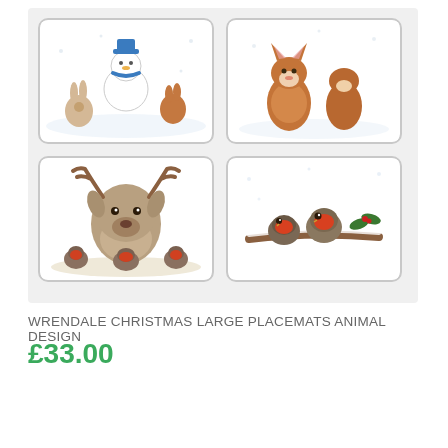[Figure (photo): Four Christmas placemats with watercolour animal designs arranged in a 2x2 grid. Top-left: snowman with rabbits and woodland animals in snow. Top-right: two foxes in snowy scene. Bottom-left: reindeer with robins sitting in front in snow. Bottom-right: two robins sitting on a snow-covered branch with holly.]
WRENDALE CHRISTMAS LARGE PLACEMATS ANIMAL DESIGN
£33.00